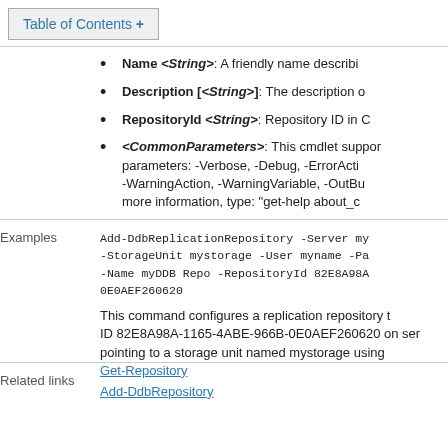Table of Contents +
Name <String>: A friendly name describi
Description [<String>]: The description o
RepositoryId <String>: Repository ID in C
<CommonParameters>: This cmdlet suppor parameters: -Verbose, -Debug, -ErrorActi -WarningAction, -WarningVariable, -OutBu more information, type: "get-help about_c
Examples
Add-DdbReplicationRepository -Server my -StorageUnit mystorage -User myname -Pa -Name myDDB Repo -RepositoryId 82E8A98A 0E0AEF260620
This command configures a replication repository t ID 82E8A98A-1165-4ABE-966B-0E0AEF260620 on ser pointing to a storage unit named mystorage using
Related links
Get-Repository
Add-DdbRepository